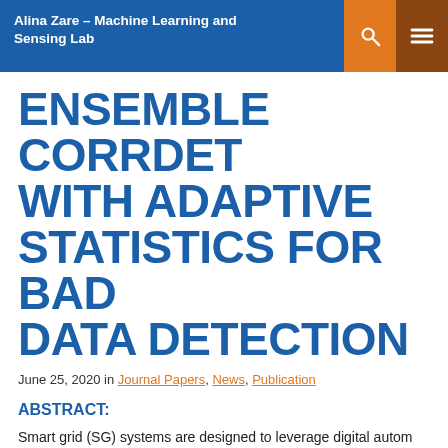Alina Zare – Machine Learning and Sensing Lab
ENSEMBLE CORRDET WITH ADAPTIVE STATISTICS FOR BAD DATA DETECTION
June 25, 2020 in Journal Papers, News, Publication
ABSTRACT:
Smart grid (SG) systems are designed to leverage digital automation technologies for monitoring, control and analysis. As SG technologies are implemented in increasing numbers of power systems, SG data